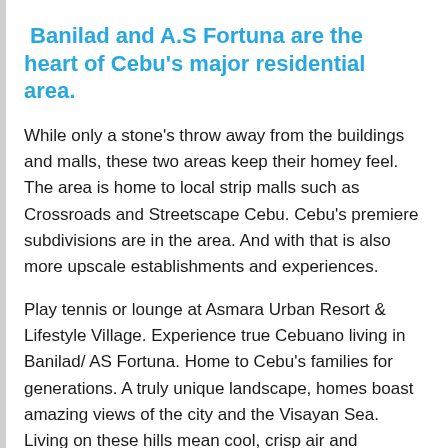Banilad and A.S Fortuna are the heart of Cebu's major residential area.
While only a stone's throw away from the buildings and malls, these two areas keep their homey feel. The area is home to local strip malls such as Crossroads and Streetscape Cebu. Cebu's premiere subdivisions are in the area. And with that is also more upscale establishments and experiences.
Play tennis or lounge at Asmara Urban Resort & Lifestyle Village. Experience true Cebuano living in Banilad/ AS Fortuna. Home to Cebu's families for generations. A truly unique landscape, homes boast amazing views of the city and the Visayan Sea. Living on these hills mean cool, crisp air and untethered views. – a perfect escape after days in the city. Choose between homes in Dona Rita